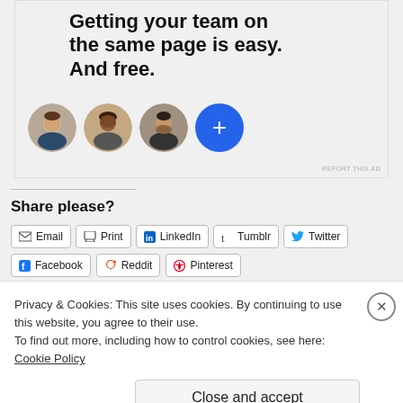[Figure (screenshot): Advertisement banner with bold text 'Getting your team on the same page is easy. And free.' and four circular avatar images including a blue plus button.]
Share please?
Email  Print  LinkedIn  Tumblr  Twitter  Facebook  Reddit  Pinterest
Privacy & Cookies: This site uses cookies. By continuing to use this website, you agree to their use. To find out more, including how to control cookies, see here: Cookie Policy
Close and accept